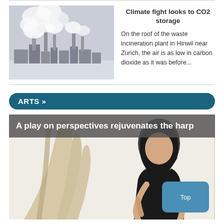[Figure (photo): Industrial smoke stacks emitting large white smoke clouds against a grey sky, with industrial buildings in the foreground.]
Climate fight looks to CO2 storage
On the roof of the waste incineration plant in Hinwil near Zurich, the air is as low in carbon dioxide as it was before...
ARTS »
[Figure (photo): A woman with dark hair wearing a black sleeveless top, shown next to a large harp. The image has a soft, light background with warm harp tones in the foreground.]
A play on perspectives rejuvenates the harp